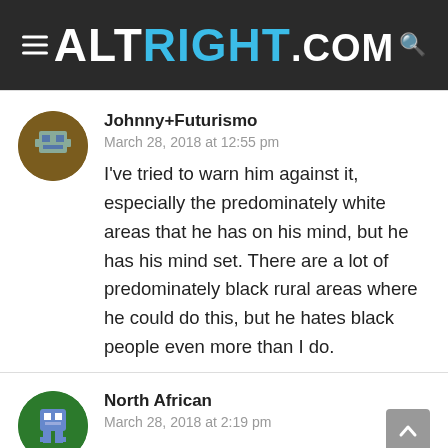ALTRIGHT.COM
Johnny+Futurismo
March 28, 2018 at 12:55 pm
I've tried to warn him against it, especially the predominately white areas that he has on his mind, but he has his mind set. There are a lot of predominately black rural areas where he could do this, but he hates black people even more than I do.
North African
March 28, 2018 at 2:19 pm